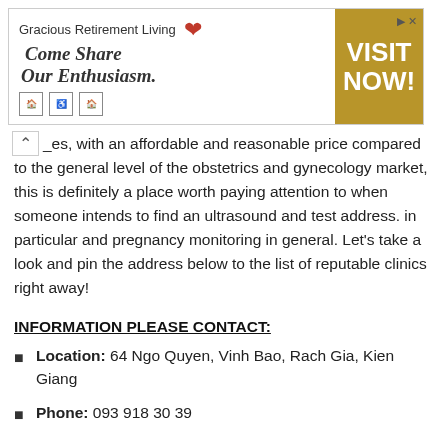[Figure (other): Advertisement banner for Gracious Retirement Living with slogan 'Come Share Our Enthusiasm.' and 'VISIT NOW!' button in gold/tan color]
Besides, with an affordable and reasonable price compared to the general level of the obstetrics and gynecology market, this is definitely a place worth paying attention to when someone intends to find an ultrasound and test address. in particular and pregnancy monitoring in general. Let's take a look and pin the address below to the list of reputable clinics right away!
INFORMATION PLEASE CONTACT:
Location: 64 Ngo Quyen, Vinh Bao, Rach Gia, Kien Giang
Phone: 093 918 30 39